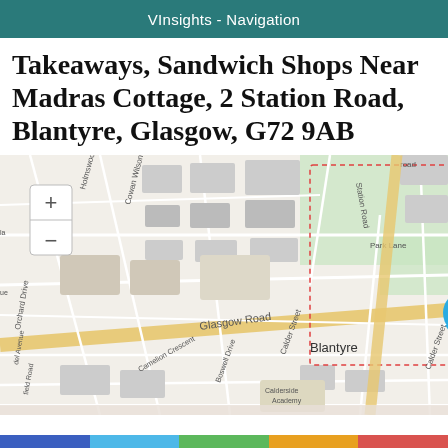VInsights - Navigation
Takeaways, Sandwich Shops Near Madras Cottage, 2 Station Road, Blantyre, Glasgow, G72 9AB
[Figure (map): OpenStreetMap showing Blantyre, Glasgow area centered on a location marker near Station Road and Glasgow Road. The map shows streets including Glasgow Road, Calder Street, Park Lane, Cowan Wilson Avenue, Holmswood, Orchard Drive, John Street, Forrest Street, Boswell Drive, Camelion Crescent, Station Road, and landmarks including McAnulty Park, Calderside Academy, and Blantyre station label. A blue location pin is placed at the center. Road A724 visible in bottom right. Map has zoom +/- controls in top left.]